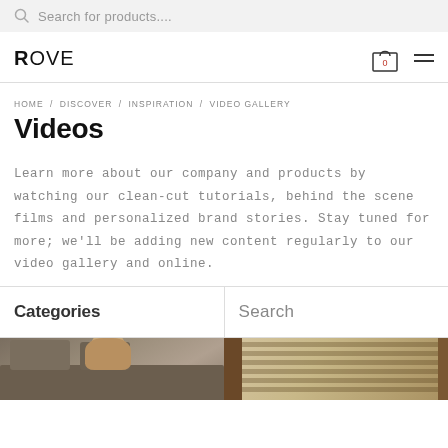Search for products...
ROVE
HOME / DISCOVER / INSPIRATION / VIDEO GALLERY
Videos
Learn more about our company and products by watching our clean-cut tutorials, behind the scene films and personalized brand stories. Stay tuned for more; we'll be adding new content regularly to our video gallery and online.
Categories
Search
[Figure (photo): Bottom portion of a website showing two image thumbnails — left shows a woman with long hair seated in front of a sofa in a living room; right shows wooden window blinds with natural light.]